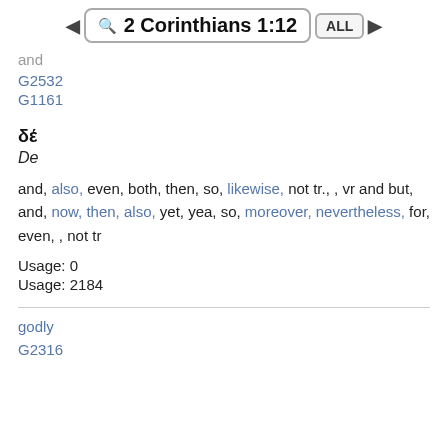◄  🔍 2 Corinthians 1:12  ALL  ►
and
G2532
G1161
δέ
De
and, also, even, both, then, so, likewise, not tr., , vr and but, and, now, then, also, yet, yea, so, moreover, nevertheless, for, even, , not tr
Usage: 0
Usage: 2184
godly
G2316